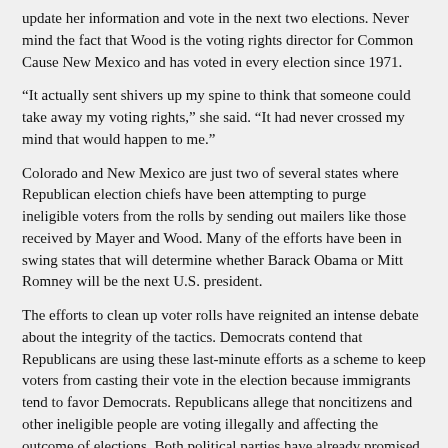update her information and vote in the next two elections. Never mind the fact that Wood is the voting rights director for Common Cause New Mexico and has voted in every election since 1971.
“It actually sent shivers up my spine to think that someone could take away my voting rights,” she said. “It had never crossed my mind that would happen to me.”
Colorado and New Mexico are just two of several states where Republican election chiefs have been attempting to purge ineligible voters from the rolls by sending out mailers like those received by Mayer and Wood. Many of the efforts have been in swing states that will determine whether Barack Obama or Mitt Romney will be the next U.S. president.
The efforts to clean up voter rolls have reignited an intense debate about the integrity of the tactics. Democrats contend that Republicans are using these last-minute efforts as a scheme to keep voters from casting their vote in the election because immigrants tend to favor Democrats. Republicans allege that noncitizens and other ineligible people are voting illegally and affecting the outcome of elections. Both political parties have already promised to be watching at the polls for signs of illegal activities by their opponents.
The tactics come on the heels of a News21 investigation that found only a handful of cases of in-person voting fraud since 2000, when 146 million Americans were registered to vote. Several states have passed voter ID laws to eliminate fraud at the polls, and lawsuits have been unfolding in battlegrounds like Pennsylvania to stop the laws.
But another, sometimes-overlooked front in the battle for votes in the